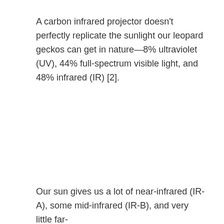A carbon infrared projector doesn't perfectly replicate the sunlight our leopard geckos can get in nature—8% ultraviolet (UV), 44% full-spectrum visible light, and 48% infrared (IR) [2].
Our sun gives us a lot of near-infrared (IR-A), some mid-infrared (IR-B), and very little far-